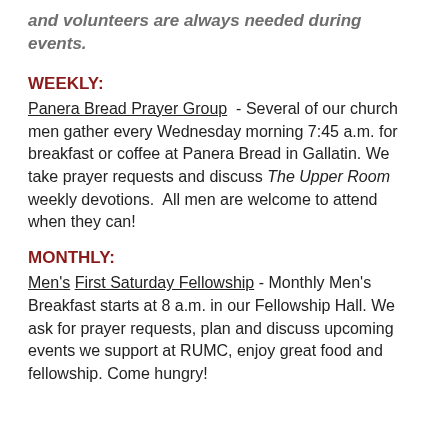and volunteers are always needed during events.
WEEKLY:
Panera Bread Prayer Group  - Several of our church men gather every Wednesday morning 7:45 a.m. for breakfast or coffee at Panera Bread in Gallatin. We take prayer requests and discuss The Upper Room weekly devotions.  All men are welcome to attend when they can!
MONTHLY:
Men's First Saturday Fellowship - Monthly Men's Breakfast starts at 8 a.m. in our Fellowship Hall. We ask for prayer requests, plan and discuss upcoming events we support at RUMC, enjoy great food and fellowship. Come hungry!